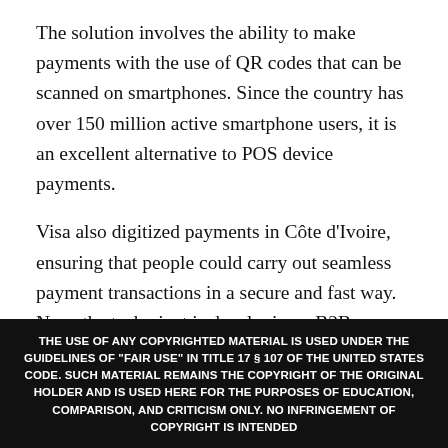The solution involves the ability to make payments with the use of QR codes that can be scanned on smartphones. Since the country has over 150 million active smartphone users, it is an excellent alternative to POS device payments.
Visa also digitized payments in Côte d'Ivoire, ensuring that people could carry out seamless payment transactions in a secure and fast way. Now, the tech giant is developing a B2B payment platform which will simplify the entire payment
THE USE OF ANY COPYRIGHTED MATERIAL IS USED UNDER THE GUIDELINES OF "FAIR USE" IN TITLE 17 § 107 OF THE UNITED STATES CODE. SUCH MATERIAL REMAINS THE COPYRIGHT OF THE ORIGINAL HOLDER AND IS USED HERE FOR THE PURPOSES OF EDUCATION, COMPARISON, AND CRITICISM ONLY. NO INFRINGEMENT OF COPYRIGHT IS INTENDED